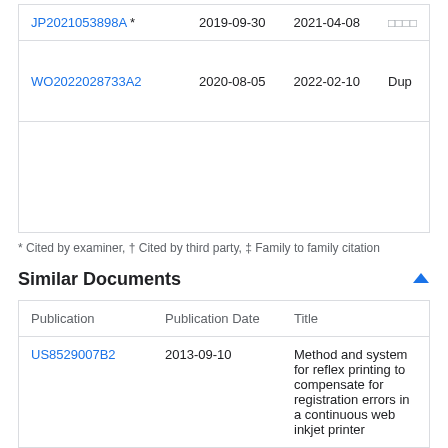| Publication | Filed | Published |  |
| --- | --- | --- | --- |
| JP2021053898A * | 2019-09-30 | 2021-04-08 | □□□□ |
| WO2022028733A2 | 2020-08-05 | 2022-02-10 | Dup |
* Cited by examiner, † Cited by third party, ‡ Family to family citation
Similar Documents
| Publication | Publication Date | Title |
| --- | --- | --- |
| US8529007B2 | 2013-09-10 | Method and system for reflex printing to compensate for registration errors in a continuous web inkjet printer |
| US8313163B2 | 2012-11-20 | Method and system to compensate for |